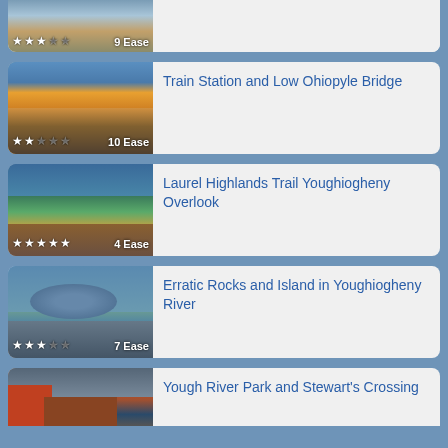[Figure (photo): Partial card at top showing waterfall/rocks scene with 3-star rating and 9 Ease label]
[Figure (photo): Train Station and Low Ohiopyle Bridge - autumn foliage, bridge, path scene with 2-star rating and 10 Ease label]
Train Station and Low Ohiopyle Bridge
[Figure (photo): Laurel Highlands Trail Youghiogheny Overlook - aerial valley view with river, 5-star rating and 4 Ease label]
Laurel Highlands Trail Youghiogheny Overlook
[Figure (photo): Erratic Rocks and Island in Youghiogheny River - rock/water scene with 3-star rating and 7 Ease label]
Erratic Rocks and Island in Youghiogheny River
[Figure (photo): Partial card at bottom showing Yough River Park and Stewart's Crossing]
Yough River Park and Stewart's Crossing